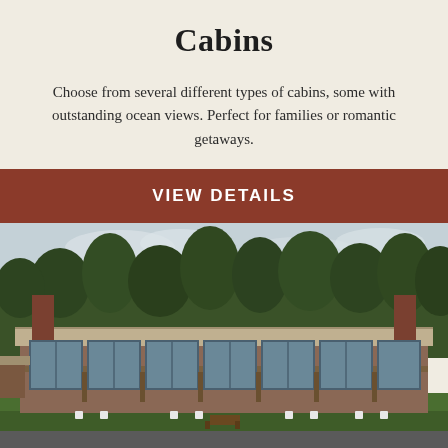Cabins
Choose from several different types of cabins, some with outstanding ocean views. Perfect for families or romantic getaways.
VIEW DETAILS
[Figure (photo): Exterior photo of a long single-story cabin building with wide deck/balcony, large glass sliding doors, white Adirondack chairs on the lawn, chimneys at each end, surrounded by tall conifer trees under an overcast sky.]